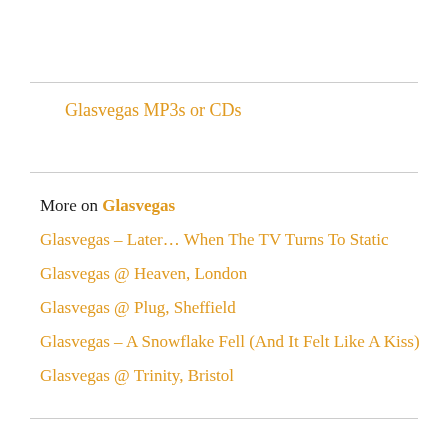Glasvegas MP3s or CDs
More on Glasvegas
Glasvegas – Later… When The TV Turns To Static
Glasvegas @ Heaven, London
Glasvegas @ Plug, Sheffield
Glasvegas – A Snowflake Fell (And It Felt Like A Kiss)
Glasvegas @ Trinity, Bristol